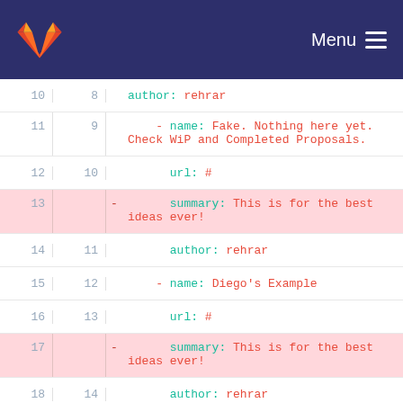GitLab Menu
[Figure (screenshot): GitLab diff view showing YAML code lines 10-24 with deleted lines highlighted in pink. Lines 13, 17, and 21 are deleted (no right line number), containing 'summary: This is for the best ideas ever!'. Other lines show author: rehrar, name entries, and url: # entries.]